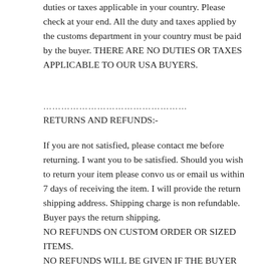duties or taxes applicable in your country. Please check at your end. All the duty and taxes applied by the customs department in your country must be paid by the buyer. THERE ARE NO DUTIES OR TAXES APPLICABLE TO OUR USA BUYERS.
…………………………………………
RETURNS AND REFUNDS:-
If you are not satisfied, please contact me before returning. I want you to be satisfied. Should you wish to return your item please convo us or email us within 7 days of receiving the item. I will provide the return shipping address. Shipping charge is non refundable. Buyer pays the return shipping.
NO REFUNDS ON CUSTOM ORDER OR SIZED ITEMS.
NO REFUNDS WILL BE GIVEN IF THE BUYER DOES NOT CONTACT ME BEFORE RETURNING THE ITEM.